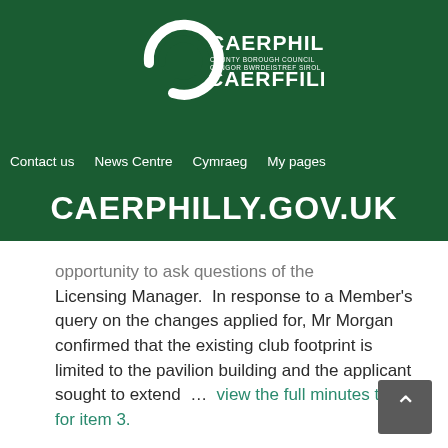[Figure (logo): Caerphilly County Borough Council / Cyngor Bwrdeistref Sirol Caerffili logo — white circle-C mark with text on dark green background]
Contact us   News Centre   Cymraeg   My pages
CAERPHILLY.GOV.UK
opportunity to ask questions of the Licensing Manager.  In response to a Member's query on the changes applied for, Mr Morgan confirmed that the existing club footprint is limited to the pavilion building and the applicant sought to extend  …  view the full minutes text for item 3.